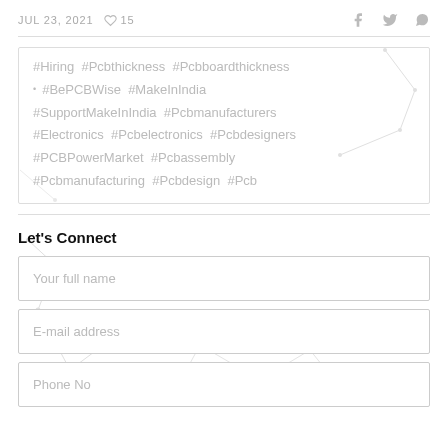JUL 23, 2021  ♡ 15
#Hiring #Pcbthickness #Pcbboardthickness #BePCBWise #MakeInIndia #SupportMakeInIndia #Pcbmanufacturers #Electronics #Pcbelectronics #Pcbdesigners #PCBPowerMarket #Pcbassembly #Pcbmanufacturing #Pcbdesign #Pcb
Let's Connect
Your full name
E-mail address
Phone No